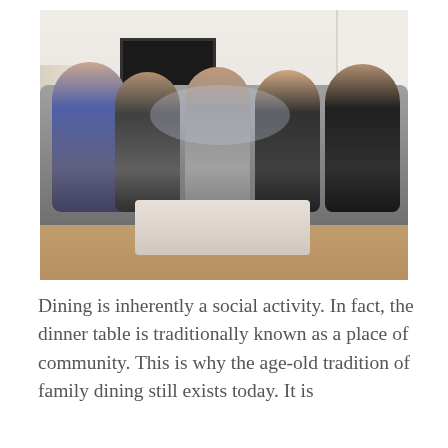[Figure (photo): Five young women sitting together on a grey sofa in a modern living room, clinking champagne glasses in a toast over a white marble coffee table with drinks and snacks. The room has a TV on a stand, white shelving with decorative items, and a fireplace on the left. The women are smiling and appear to be celebrating.]
Dining is inherently a social activity. In fact, the dinner table is traditionally known as a place of community. This is why the age-old tradition of family dining still exists today. It is